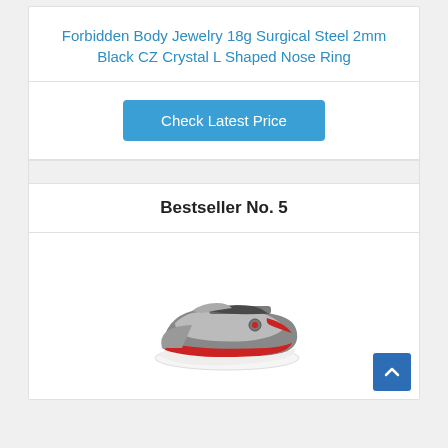Forbidden Body Jewelry 18g Surgical Steel 2mm Black CZ Crystal L Shaped Nose Ring
[Figure (other): Blue 'Check Latest Price' button]
Bestseller No. 5
[Figure (photo): A grey and red children's sneaker/athletic shoe with velcro strap]